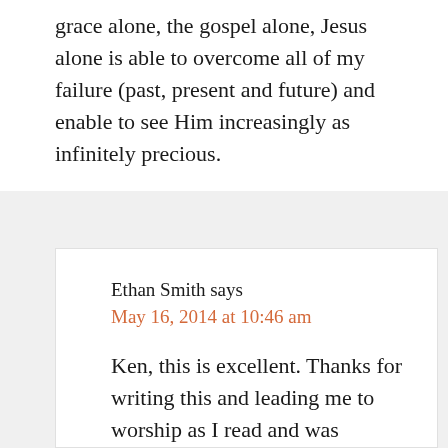grace alone, the gospel alone, Jesus alone is able to overcome all of my failure (past, present and future) and enable to see Him increasingly as infinitely precious.
Ethan Smith says
May 16, 2014 at 10:46 am
Ken, this is excellent. Thanks for writing this and leading me to worship as I read and was reminded of the incomparable love and